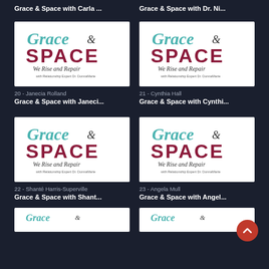Grace & Space with Carla ...
Grace & Space with Dr. Ni...
[Figure (logo): Grace & Space We Rise and Repair podcast logo with teal script and dark red block letters]
20 - Janecia Rolland
Grace & Space with Janeci...
[Figure (logo): Grace & Space We Rise and Repair podcast logo with teal script and dark red block letters]
21 - Cynthia Hall
Grace & Space with Cynthi...
[Figure (logo): Grace & Space We Rise and Repair podcast logo with teal script and dark red block letters]
22 - Shanté Harris-Superville
Grace & Space with Shant...
[Figure (logo): Grace & Space We Rise and Repair podcast logo with teal script and dark red block letters]
23 - Angela Mull
Grace & Space with Angel...